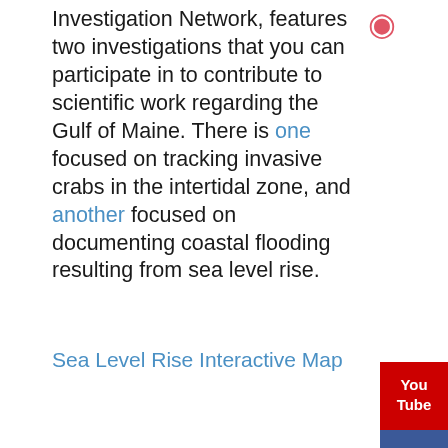Investigation Network, features two investigations that you can participate in to contribute to scientific work regarding the Gulf of Maine. There is one focused on tracking invasive crabs in the intertidal zone, and another focused on documenting coastal flooding resulting from sea level rise.
Sea Level Rise Interactive Map
[Figure (logo): YouTube button - red background with You Tube text in white]
[Figure (logo): Facebook button - blue background with white f]
children's events children's library children's programs graves library summer events kennebunkport events for kids kennebunkport kids stuff kids happenings kids happenings in kennebunkport kids reading summer reading summer reading 2022 summer reading program